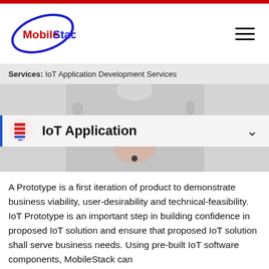MobileStack
Services: IoT Application Development Services
[Figure (screenshot): Partial hero image strip showing people in background, top portion]
IoT Application
[Figure (screenshot): Partial hero image strip showing person, bottom portion]
A Prototype is a first iteration of product to demonstrate business viability, user-desirability and technical-feasibility. IoT Prototype is an important step in building confidence in proposed IoT solution and ensure that proposed IoT solution shall serve business needs. Using pre-built IoT software components, MobileStack can